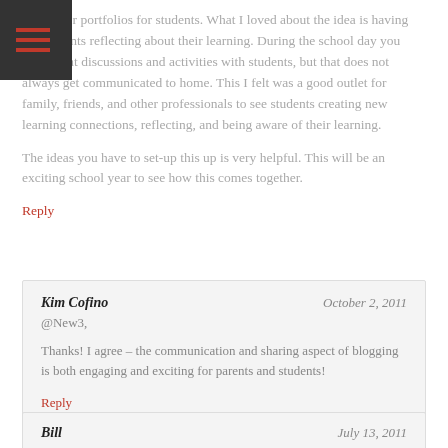format for portfolios for students. What I loved about the idea is having the students reflecting about their learning. During the school day you have great discussions and activities with students, but that does not always get communicated to home. This I felt was a good outlet for family, friends, and other professionals to see students creating new learning connections, reflecting, and being aware of their learning.
The ideas you have to set-up this up is very helpful. This will be an exciting school year to see how this comes together.
Reply
Kim Cofino
October 2, 2011
@New3,
Thanks! I agree – the communication and sharing aspect of blogging is both engaging and exciting for parents and students!
Reply
Bill
July 13, 2011